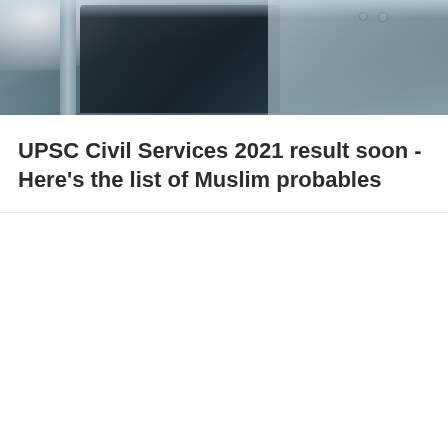[Figure (photo): Photograph showing a car door frame and window area, with a hand or light-colored object visible at the top left corner. The scene appears to be an outdoor photo with the car's door structure visible.]
UPSC Civil Services 2021 result soon - Here's the list of Muslim probables